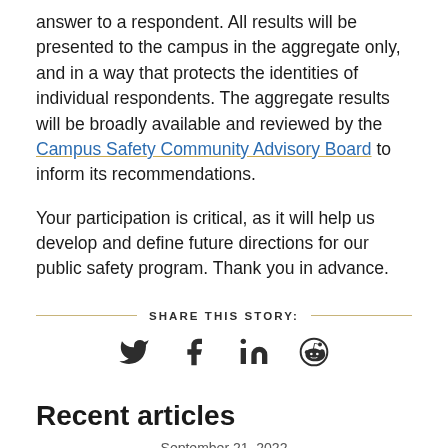answer to a respondent. All results will be presented to the campus in the aggregate only, and in a way that protects the identities of individual respondents. The aggregate results will be broadly available and reviewed by the Campus Safety Community Advisory Board to inform its recommendations.
Your participation is critical, as it will help us develop and define future directions for our public safety program. Thank you in advance.
SHARE THIS STORY:
[Figure (infographic): Social sharing icons: Twitter, Facebook, LinkedIn, Reddit]
Recent articles
September 21, 2022